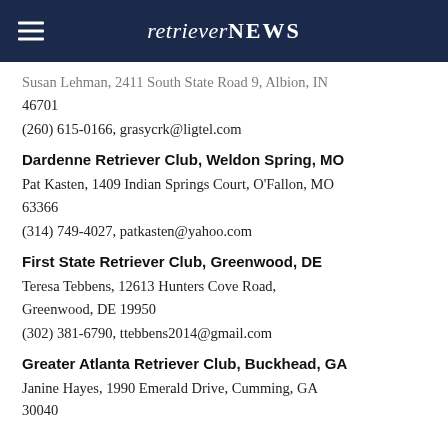retrieverNEWS
Susan Lehman, 2411 South State Road 9, Albion, IN 46701
(260) 615-0166, grasycrk@ligtel.com
Dardenne Retriever Club, Weldon Spring, MO
Pat Kasten, 1409 Indian Springs Court, O'Fallon, MO 63366
(314) 749-4027, patkasten@yahoo.com
First State Retriever Club, Greenwood, DE
Teresa Tebbens, 12613 Hunters Cove Road, Greenwood, DE 19950
(302) 381-6790, ttebbens2014@gmail.com
Greater Atlanta Retriever Club, Buckhead, GA
Janine Hayes, 1990 Emerald Drive, Cumming, GA 30040